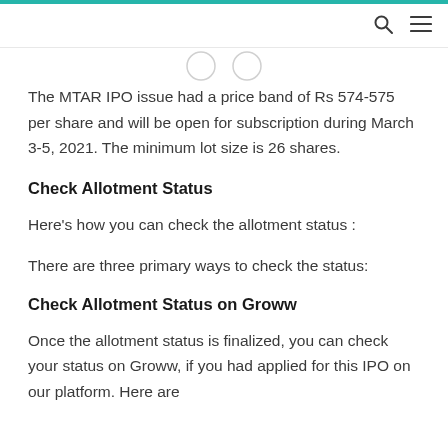The MTAR IPO issue had a price band of Rs 574-575 per share and will be open for subscription during March 3-5, 2021. The minimum lot size is 26 shares.
Check Allotment Status
Here's how you can check the allotment status :
There are three primary ways to check the status:
Check Allotment Status on Groww
Once the allotment status is finalized, you can check your status on Groww, if you had applied for this IPO on our platform. Here are